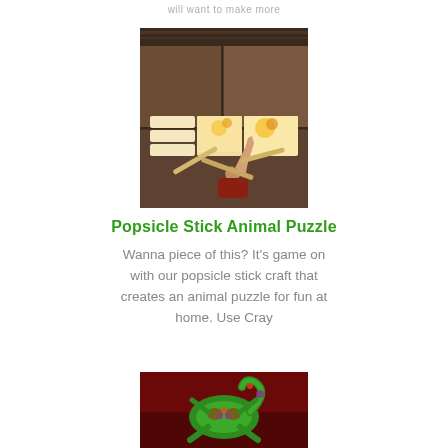will want to make more
[Figure (photo): Photo of a person pointing at popsicle stick animal puzzle pieces arranged on a dark wooden floor surface, showing partial animal images on horizontal sticks]
Popsicle Stick Animal Puzzle
Wanna piece of this? It's game on with our popsicle stick craft that creates an animal puzzle for fun at home. Use Cray
[Figure (photo): Photo of a colorful painted lizard/gecko craft with decorative patterns on a dark red background]